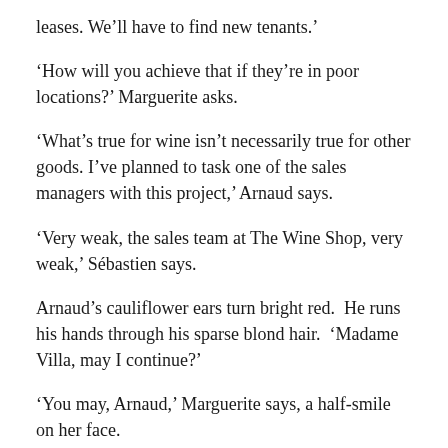leases. We’ll have to find new tenants.’
‘How will you achieve that if they’re in poor locations?’ Marguerite asks.
‘What’s true for wine isn’t necessarily true for other goods. I’ve planned to task one of the sales managers with this project,’ Arnaud says.
‘Very weak, the sales team at The Wine Shop, very weak,’ Sébastien says.
Arnaud’s cauliflower ears turn bright red.  He runs his hands through his sparse blond hair.  ‘Madame Villa, may I continue?’
‘You may, Arnaud,’ Marguerite says, a half-smile on her face.